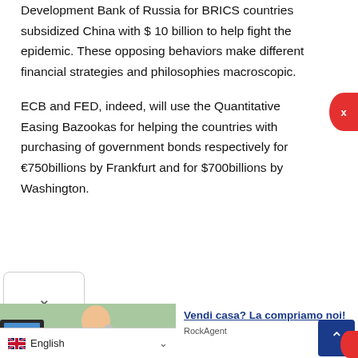Development Bank of Russia for BRICS countries subsidized China with $ 10 billion to help fight the epidemic. These opposing behaviors make different financial strategies and philosophies macroscopic.
ECB and FED, indeed, will use the Quantitative Easing Bazookas for helping the countries with purchasing of government bonds respectively for €750billions by Frankfurt and for $700billions by Washington.
[Figure (photo): Advertisement showing a woman on phone at desk with monitor, alongside text 'Vendi casa? La compriamo noi!' and source 'RockAgent']